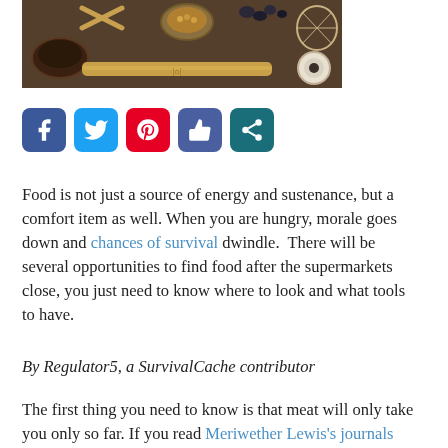[Figure (photo): Overhead flat-lay photo of primitive survival tools including wooden bowls, bamboo sticks, seeds, stones, rope/twine, arranged on a dark surface.]
[Figure (infographic): Row of five social media share buttons: Facebook (blue), Twitter (light blue), Pinterest (red), Like/thumbs-up (blue-grey), Share (teal).]
Food is not just a source of energy and sustenance, but a comfort item as well. When you are hungry, morale goes down and chances of survival dwindle.  There will be several opportunities to find food after the supermarkets close, you just need to know where to look and what tools to have.
By Regulator5, a SurvivalCache contributor
The first thing you need to know is that meat will only take you only so far. If you read Meriwether Lewis's journals from